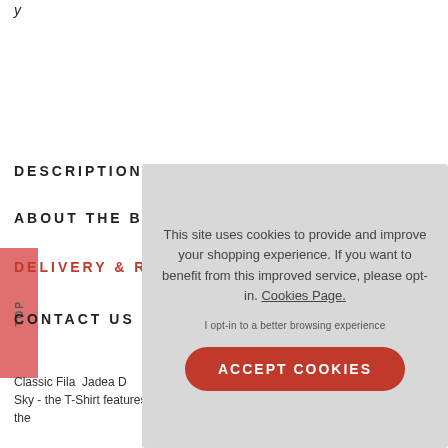y
DESCRIPTION
ABOUT THE B
DELIVERY & R
CONTACT US
Classic Fila  Jadea 
Sky - the T-Shirt features a uniquely cool striped design on the
This site uses cookies to provide and improve your shopping experience. If you want to benefit from this improved service, please opt-in. Cookies Page.

I opt-in to a better browsing experience

ACCEPT COOKIES